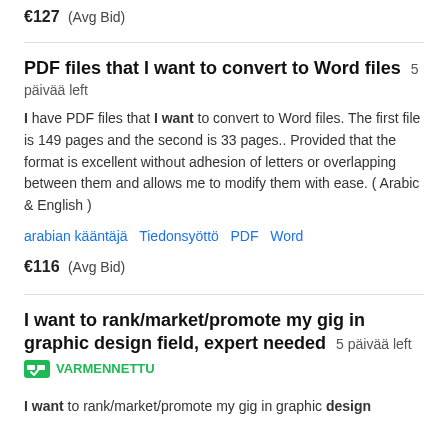€127  (Avg Bid)
PDF files that I want to convert to Word files  5 päivää left
I have PDF files that I want to convert to Word files. The first file is 149 pages and the second is 33 pages.. Provided that the format is excellent without adhesion of letters or overlapping between them and allows me to modify them with ease. ( Arabic & English )
arabian kääntäjä
Tiedonsyöttö
PDF
Word
€116  (Avg Bid)
I want to rank/market/promote my gig in graphic design field, expert needed  5 päivää left
VARMENNETTU
I want to rank/market/promote my gig in graphic design